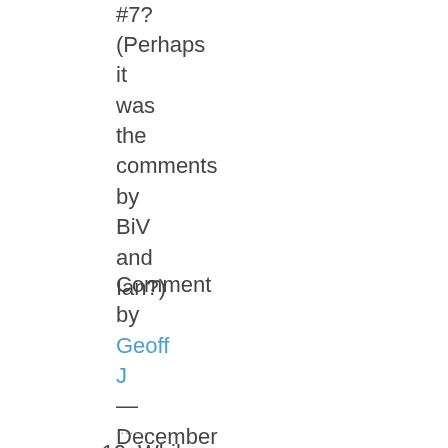#7?
(Perhaps it was the comments by BiV and Ian?)
Comment by Geoff J — December 29, 2006 @ 8:58 am
.......
10. While I think I